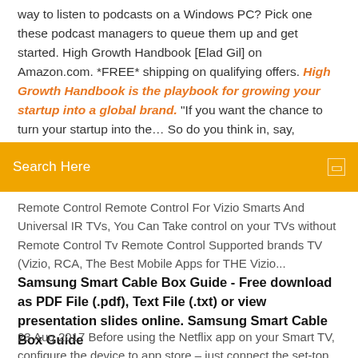way to listen to podcasts on a Windows PC? Pick one these podcast managers to queue them up and get started. High Growth Handbook [Elad Gil] on Amazon.com. *FREE* shipping on qualifying offers. High Growth Handbook is the playbook for growing your startup into a global brand. "If you want the chance to turn your startup into the… So do you think in, say,
Search Here
Remote Control Remote Control For Vizio Smarts And Universal IR TVs, You Can Take control on your TVs without Remote Control Tv Remote Control Supported brands TV (Vizio, RCA, The Best Mobile Apps for THE Vizio...
Samsung Smart Cable Box Guide - Free download as PDF File (.pdf), Text File (.txt) or view presentation slides online. Samsung Smart Cable Box Guide
23 Aug 2017 Before using the Netflix app on your Smart TV, configure the device to app store – just connect the set-top box